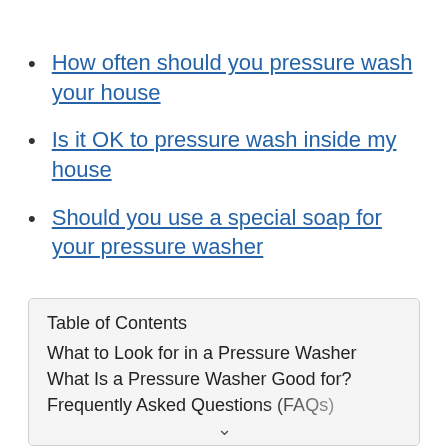How often should you pressure wash your house
Is it OK to pressure wash inside my house
Should you use a special soap for your pressure washer
| Table of Contents |
| --- |
| What to Look for in a Pressure Washer |
| What Is a Pressure Washer Good for? |
| Frequently Asked Questions (FAQs) |